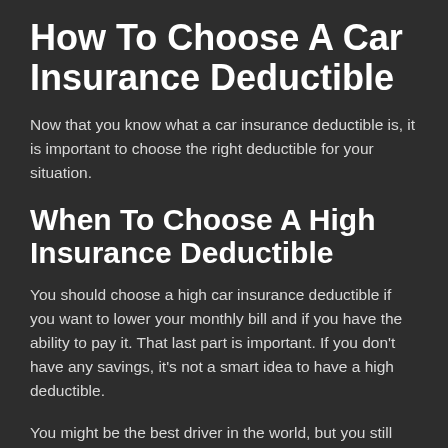How To Choose A Car Insurance Deductible
Now that you know what a car insurance deductible is, it is important to choose the right deductible for your situation.
When To Choose A High Insurance Deductible
You should choose a high car insurance deductible if you want to lower your monthly bill and if you have the ability to pay it. That last part is important. If you don't have any savings, it's not a smart idea to have a high deductible.
You might be the best driver in the world, but you still share the road with bad drivers and uninsured motorists. According to the Insurance Information